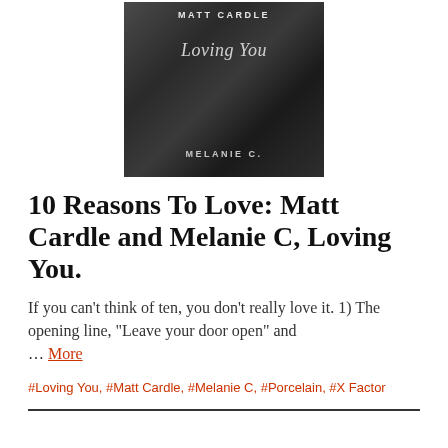[Figure (illustration): Album cover for 'Loving You' by Matt Cardle and Melanie C. Dark metallic grey background with text: 'MATT CARDLE' at top in spaced capitals, 'Loving You' in cursive/italic script in the middle, and 'MELANIE C.' at the bottom in spaced capitals.]
10 Reasons To Love: Matt Cardle and Melanie C, Loving You.
If you can't think of ten, you don't really love it. 1) The opening line, "Leave your door open" and … More
#Loving You, #Matt Cardle, #Melanie C, #Porcelain, #X Factor